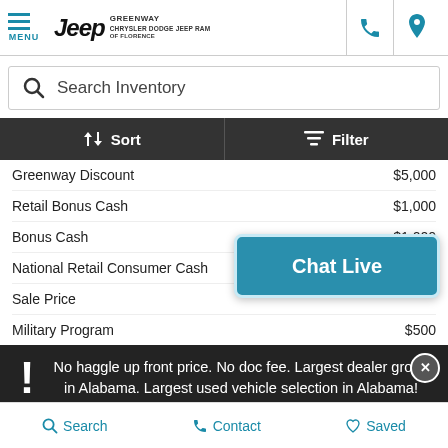[Figure (screenshot): Jeep Greenway Chrysler Dodge Jeep Ram of Florence dealership website header with menu icon, logo, phone and location icons]
Search Inventory
Sort | Filter
| Item | Amount |
| --- | --- |
| Greenway Discount | $5,000 |
| Retail Bonus Cash | $1,000 |
| Bonus Cash | $1,000 |
| National Retail Consumer Cash |  |
| Sale Price |  |
| Military Program | $500 |
Chat Live
No haggle up front price. No doc fee. Largest dealer group in Alabama. Largest used vehicle selection in Alabama!
Search  Contact  Saved